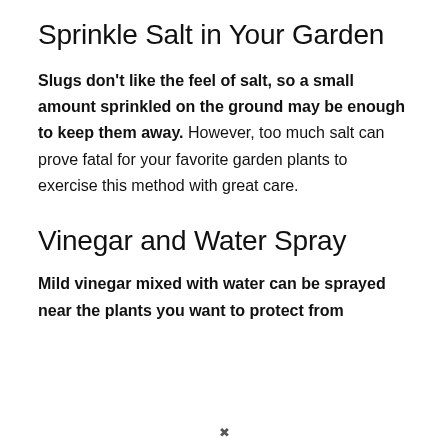Sprinkle Salt in Your Garden
Slugs don't like the feel of salt, so a small amount sprinkled on the ground may be enough to keep them away. However, too much salt can prove fatal for your favorite garden plants to exercise this method with great care.
Vinegar and Water Spray
Mild vinegar mixed with water can be sprayed near the plants you want to protect from